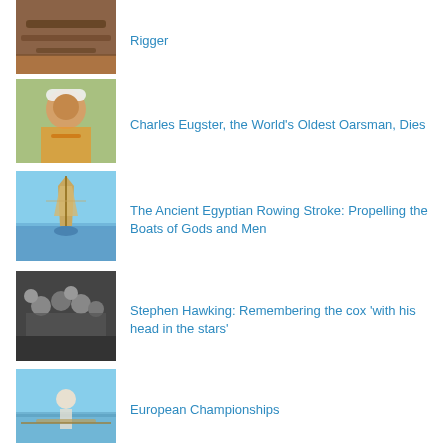[Figure (photo): Close-up photo of rowing equipment/rigger]
Rigger
[Figure (photo): Portrait of Charles Eugster, elderly man in orange tie and white hat]
Charles Eugster, the World’s Oldest Oarsman, Dies
[Figure (photo): Small traditional boat on open water against blue sky]
The Ancient Egyptian Rowing Stroke: Propelling the Boats of Gods and Men
[Figure (photo): Black and white group photo of rowers]
Stephen Hawking: Remembering the cox ‘with his head in the stars’
[Figure (photo): Rower sitting in a single scull on the water]
European Championships